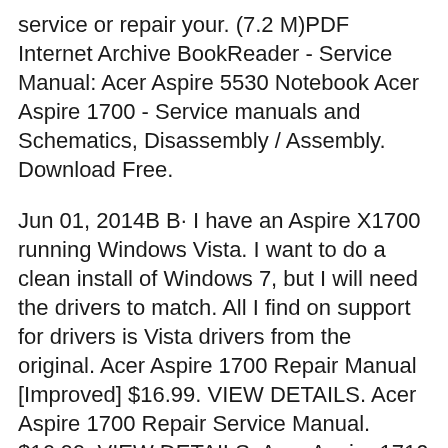service or repair your. (7.2 M)PDF Internet Archive BookReader - Service Manual: Acer Aspire 5530 Notebook Acer Aspire 1700 - Service manuals and Schematics, Disassembly / Assembly. Download Free.
Jun 01, 2014B B· I have an Aspire X1700 running Windows Vista. I want to do a clean install of Windows 7, but I will need the drivers to match. All I find on support for drivers is Vista drivers from the original. Acer Aspire 1700 Repair Manual [Improved] $16.99. VIEW DETAILS. Acer Aspire 1700 Repair Service Manual. $16.99. VIEW DETAILS. Acer Aspire 1710 Repair Manual [Improved] Acer Aspire 2020 Service...